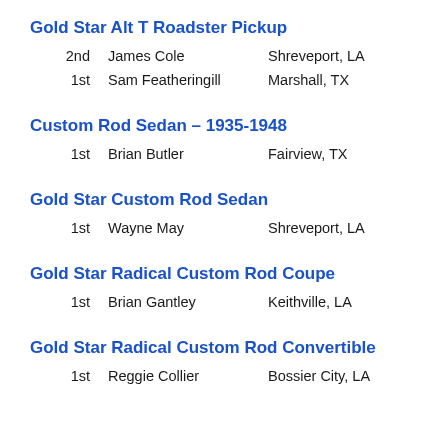Gold Star Alt T Roadster Pickup
2nd   James Cole   Shreveport, LA
1st   Sam Featheringill   Marshall, TX
Custom Rod Sedan – 1935-1948
1st   Brian Butler   Fairview, TX
Gold Star Custom Rod Sedan
1st   Wayne May   Shreveport, LA
Gold Star Radical Custom Rod Coupe
1st   Brian Gantley   Keithville, LA
Gold Star Radical Custom Rod Convertible
1st   Reggie Collier   Bossier City, LA